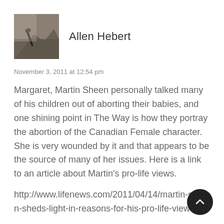[Figure (photo): Avatar photo of a hand writing with a pen, close-up shot with dark tones]
Allen Hebert
November 3, 2011 at 12:54 pm
Margaret, Martin Sheen personally talked many of his children out of aborting their babies, and one shining point in The Way is how they portray the abortion of the Canadian Female character. She is very wounded by it and that appears to be the source of many of her issues. Here is a link to an article about Martin's pro-life views.
http://www.lifenews.com/2011/04/14/martin-sheen-sheds-light-in-reasons-for-his-pro-life-views/